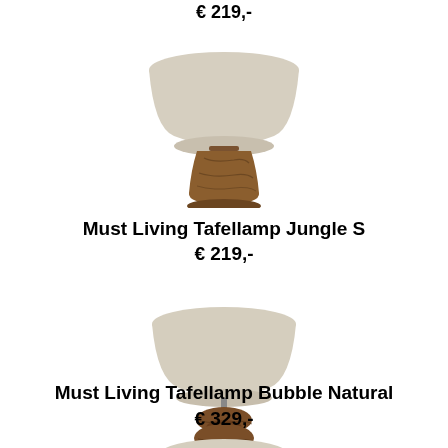€ 219,-
[Figure (photo): Must Living Tafellamp Jungle S — table lamp with a rustic wooden tapered base and a round beige linen lampshade]
Must Living Tafellamp Jungle S
€ 219,-
[Figure (photo): Must Living Tafellamp Bubble Natural — table lamp with an organic sculpted wooden base and a round beige linen lampshade]
Must Living Tafellamp Bubble Natural
€ 329,-
[Figure (photo): Partial view of another table lamp with beige lampshade at bottom of page]